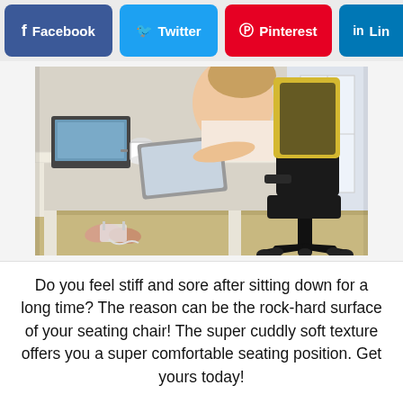[Figure (screenshot): Social media sharing buttons: Facebook (blue), Twitter (light blue), Pinterest (red), LinkedIn (dark blue, partially visible)]
[Figure (photo): A person sitting at a white desk with a laptop, mug, and tablet. Beside the desk is a black office chair with a yellow cushion/pillow on it. Wooden floor and bright window in background.]
Do you feel stiff and sore after sitting down for a long time? The reason can be the rock-hard surface of your seating chair! The super cuddly soft texture offers you a super comfortable seating position. Get yours today!